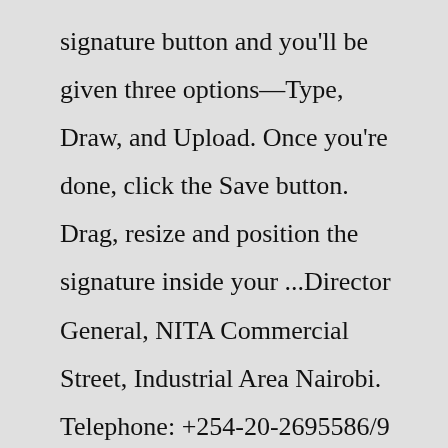signature button and you'll be given three options—Type, Draw, and Upload. Once you're done, click the Save button. Drag, resize and position the signature inside your ...Director General, NITA Commercial Street, Industrial Area Nairobi. Telephone: +254-20-2695586/9 Mobile No: +254-720-917897,254-736-290676,+254-772-212488 Email: directorgeneral@nita.go.ke Video instructions and help with filling out and